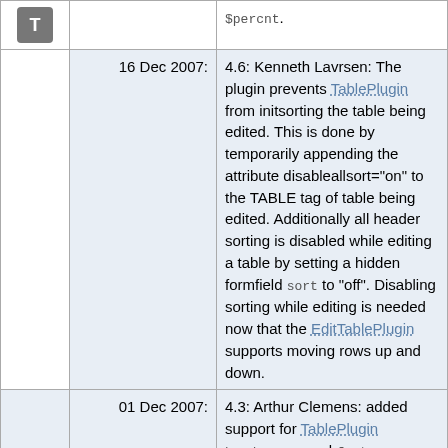|  | Date | Description |
| --- | --- | --- |
| [icon] |  | $percnt. |
|  | 16 Dec 2007: | 4.6: Kenneth Lavrsen: The plugin prevents TablePlugin from initsorting the table being edited. This is done by temporarily appending the attribute disableallsort="on" to the TABLE tag of table being edited. Additionally all header sorting is disabled while editing a table by setting a hidden formfield sort to "off". Disabling sorting while editing is needed now that the EditTablePlugin supports moving rows up and down. |
|  | 01 Dec 2007: | 4.3: Arthur Clemens: added support for TablePlugin headerrows and footerrows updated edit button |
|  | 16 Oct 2007: | 4.2: Arthur Clemens: refactoring, bug fixes. |
|  | 07 Oct 2007: | 15182: PTh: Added VarEDITTABLE to have it listed in TWikiVariables |
|  | 15 Mar 2007: | Arthur Clemens: Fixed eating of double... |